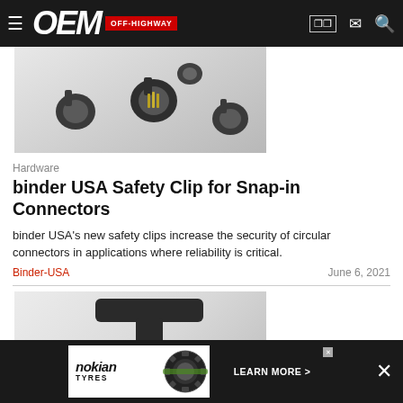OEM OFF-HIGHWAY
[Figure (photo): Partial top view of binder USA safety clips — small black circular connector clips scattered on a light gray background]
Hardware
binder USA Safety Clip for Snap-in Connectors
binder USA's new safety clips increase the security of circular connectors in applications where reliability is critical.
Binder-USA   June 6, 2021
[Figure (photo): Black T-shaped safety clip for snap-in connectors, viewed at an angle on a white/gray gradient background]
[Figure (photo): Nokian Tyres advertisement banner: nokian TYRES logo with tire image and LEARN MORE button]